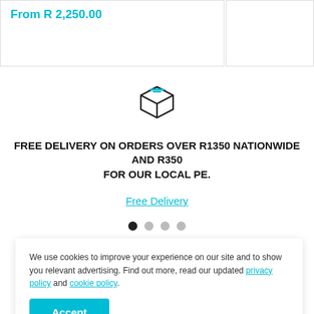From R 2,250.00
[Figure (illustration): Box/package icon outline in dark grey, representing delivery]
FREE DELIVERY ON ORDERS OVER R1350 NATIONWIDE AND R350 FOR OUR LOCAL PE.
Free Delivery
[Figure (other): Carousel navigation dots: 4 dots, first one dark/active, rest light]
We use cookies to improve your experience on our site and to show you relevant advertising. Find out more, read our updated privacy policy and cookie policy.
Accept